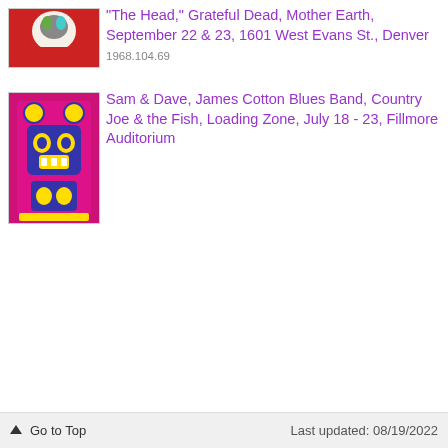[Figure (photo): Thumbnail image of psychedelic poster for The Head / Grateful Dead concert]
"The Head," Grateful Dead, Mother Earth, September 22 & 23, 1601 West Evans St., Denver
1968.104.69
[Figure (photo): Thumbnail image of colorful psychedelic poster for Sam & Dave / James Cotton Blues Band concert at Fillmore Auditorium]
Sam & Dave, James Cotton Blues Band, Country Joe & the Fish, Loading Zone, July 18 - 23, Fillmore Auditorium
↑ Go to Top    Last updated: 08/19/2022